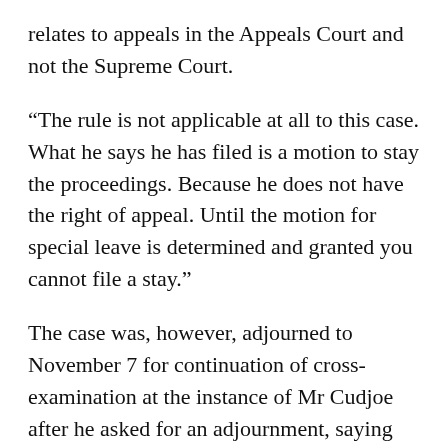relates to appeals in the Appeals Court and not the Supreme Court.
“The rule is not applicable at all to this case. What he says he has filed is a motion to stay the proceedings. Because he does not have the right of appeal. Until the motion for special leave is determined and granted you cannot file a stay.”
The case was, however, adjourned to November 7 for continuation of cross-examination at the instance of Mr Cudjoe after he asked for an adjournment, saying based on the application they were handicapped and did not have all their files in court to continue today.
Dr Owusu and Mr Seidu Agongo are facing 27